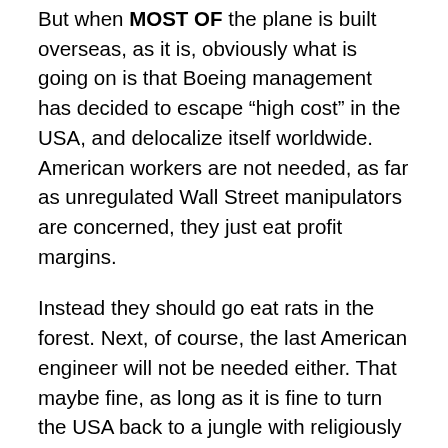But when MOST OF the plane is built overseas, as it is, obviously what is going on is that Boeing management has decided to escape “high cost” in the USA, and delocalize itself worldwide. American workers are not needed, as far as unregulated Wall Street manipulators are concerned, they just eat profit margins.
Instead they should go eat rats in the forest. Next, of course, the last American engineer will not be needed either. That maybe fine, as long as it is fine to turn the USA back to a jungle with religiously fundamentalist natives chanting in the forests, hunting moose. One could always export American religious fundamentalism, as Saudi Arabia does. Someday the Chinese will be so much richer than the Americans that it will be worthy to employ Americans again. The wheel of fortune would have turned. (But of course the whole decay process will not be